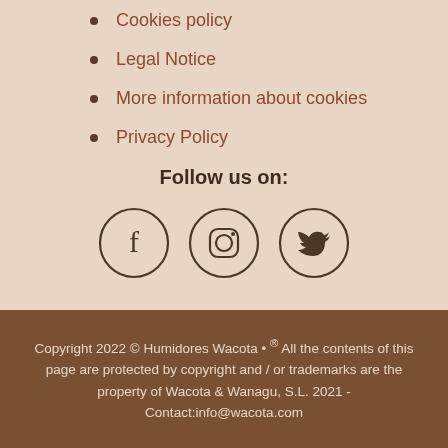Cookies policy
Legal Notice
More information about cookies
Privacy Policy
Follow us on:
[Figure (illustration): Three circular social media icons: Facebook (f), Instagram (camera), Twitter (bird)]
Copyright 2022 © Humidores Wacota • ® All the contents of this page are protected by copyright and / or trademarks are the property of Wacota & Wanagu, S.L. 2021 - Contact:info@wacota.com